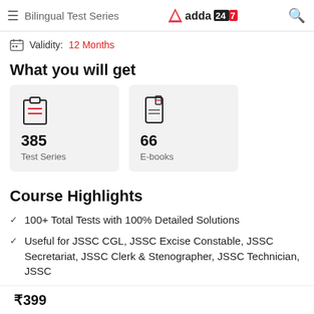Bilingual Test Series — adda247
Validity: 12 Months
What you will get
[Figure (infographic): Two cards: 385 Test Series and 66 E-books]
Course Highlights
100+ Total Tests with 100% Detailed Solutions
Useful for JSSC CGL, JSSC Excise Constable, JSSC Secretariat, JSSC Clerk & Stenographer, JSSC Technician, JSSC
₹399